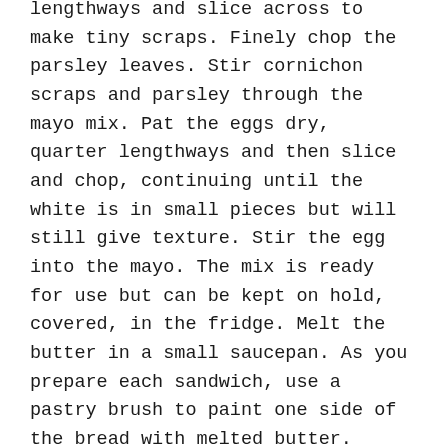lengthways and slice across to make tiny scraps. Finely chop the parsley leaves. Stir cornichon scraps and parsley through the mayo mix. Pat the eggs dry, quarter lengthways and then slice and chop, continuing until the white is in small pieces but will still give texture. Stir the egg into the mayo. The mix is ready for use but can be kept on hold, covered, in the fridge. Melt the butter in a small saucepan. As you prepare each sandwich, use a pastry brush to paint one side of the bread with melted butter. Place buttered-side down on a hot